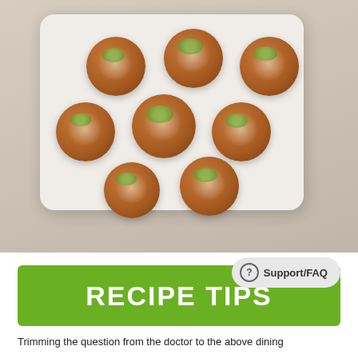[Figure (photo): Top-down photo of bacon-wrapped appetizer cups filled with toppings including vegetables and meat, arranged on a white rectangular serving tray on a light wood surface.]
RECIPE TIPS
Trimming the question from the doctor to the above dining